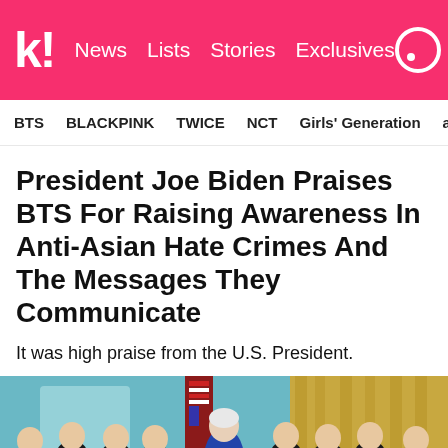k! News   Lists   Stories   Exclusives
BTS   BLACKPINK   TWICE   NCT   Girls' Generation   aespa
President Joe Biden Praises BTS For Raising Awareness In Anti-Asian Hate Crimes And The Messages They Communicate
It was high praise from the U.S. President.
[Figure (photo): BTS members and President Joe Biden posing together in the Oval Office. BTS members are wearing black suits and making heart gestures. An American flag is visible in the background.]